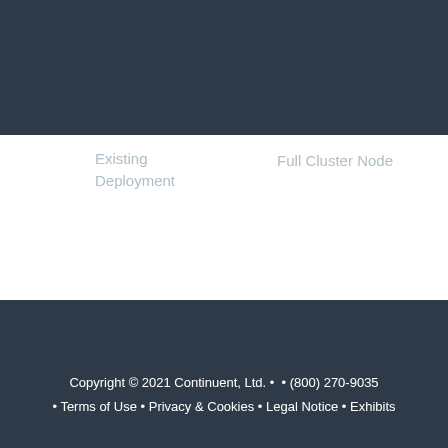Existing Deployment
Full Cluster Node
[Figure (infographic): Newsletter sign-up bar with envelope icon, placeholder text 'Sign up for our Newsletter', and a teal 'Sign Up' button]
Copyright © 2021 Continuent, Ltd. • • (800) 270-9035 • Terms of Use • Privacy & Cookies • Legal Notice • Exhibits